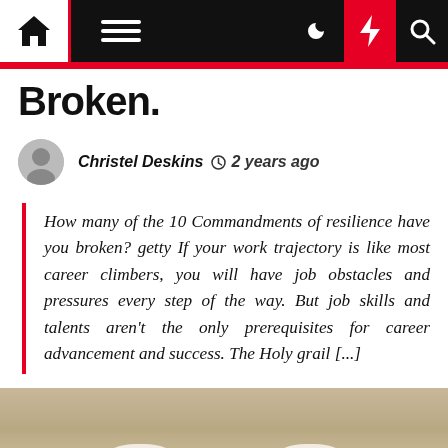Navigation bar with home, menu, moon, bolt, and search icons
Broken.
Christel Deskins  2 years ago
How many of the 10 Commandments of resilience have you broken? getty If your work trajectory is like most career climbers, you will have job obstacles and pressures every step of the way. But job skills and talents aren't the only prerequisites for career advancement and success. The Holy grail [...]
[Figure (photo): Sepia-toned photo of two eggs on a textured background]